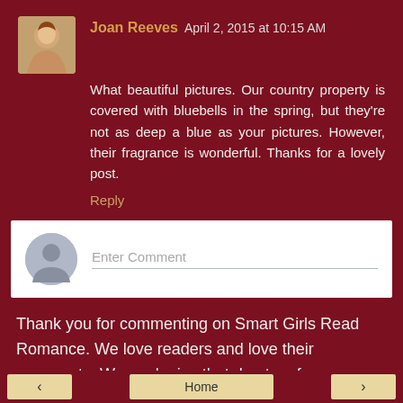Joan Reeves  April 2, 2015 at 10:15 AM
What beautiful pictures. Our country property is covered with bluebells in the spring, but they're not as deep a blue as your pictures. However, their fragrance is wonderful. Thanks for a lovely post.
Reply
Enter Comment
Thank you for commenting on Smart Girls Read Romance. We love readers and love their comments. We apologize that due to a few unethical spammers we've had to institute comment moderation. Please be patient with us... we DO want your genuine comments!
Home